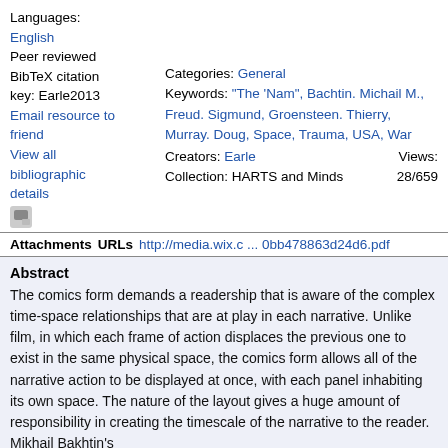Languages:
English
Peer reviewed
BibTeX citation key: Earle2013
Email resource to friend
View all bibliographic details
Categories: General
Keywords: "The 'Nam", Bachtin. Michail M., Freud. Sigmund, Groensteen. Thierry, Murray. Doug, Space, Trauma, USA, War
Creators: Earle
Collection: HARTS and Minds
Views: 28/659
Attachments  URLs  http://media.wix.c ... 0bb478863d24d6.pdf
Abstract
The comics form demands a readership that is aware of the complex time-space relationships that are at play in each narrative. Unlike film, in which each frame of action displaces the previous one to exist in the same physical space, the comics form allows all of the narrative action to be displayed at once, with each panel inhabiting its own space. The nature of the layout gives a huge amount of responsibility in creating the timescale of the narrative to the reader. Mikhail Bakhtin's